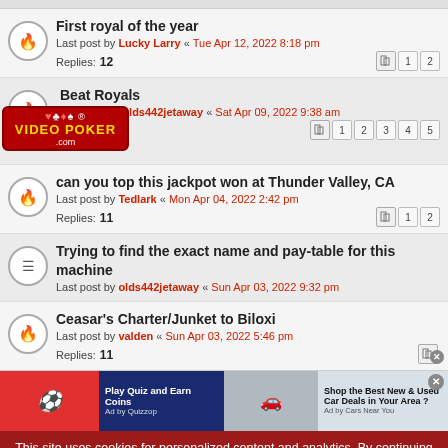First royal of the year
Last post by Lucky Larry « Tue Apr 12, 2022 8:18 pm
Replies: 12
Beat Royals
Last post by olds442jetaway « Sat Apr 09, 2022 9:38 am
Replies: 42
can you top this jackpot won at Thunder Valley, CA
Last post by Tedlark « Mon Apr 04, 2022 2:42 pm
Replies: 11
Trying to find the exact name and pay-table for this machine
Last post by olds442jetaway « Sun Apr 03, 2022 9:32 pm
Ceasar's Charter/Junket to Biloxi
Last post by valden « Sun Apr 03, 2022 5:46 pm
Replies: 11
[Figure (screenshot): Video Poker .com badge overlay with suit symbols]
[Figure (screenshot): Ad banner: Play Quiz and Earn Coins / Shop the Best New & Used Car Deals in Your Area?]
This site uses cookies for personalized content and analytics. By continuing to use this site, you agree to this use. Close